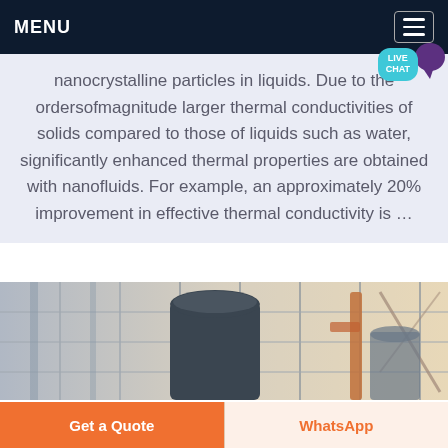MENU
nanocrystalline particles in liquids. Due to the orders of magnitude larger thermal conductivities of solids compared to those of liquids such as water, significantly enhanced thermal properties are obtained with nanofluids. For example, an approximately 20% improvement in effective thermal conductivity is …
[Figure (photo): Industrial facility interior showing a large cylindrical tank/vessel with scaffolding and structural frames in background, industrial lighting coming through windows]
Get a Quote
WhatsApp